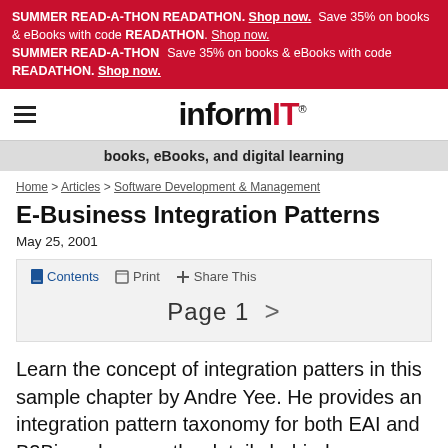SUMMER READ-A-THON READATHON. Save 35% on books & eBooks with code READATHON. Shop now.
[Figure (logo): InformIT logo with hamburger menu icon]
books, eBooks, and digital learning
Home > Articles > Software Development & Management
E-Business Integration Patterns
May 25, 2001
Contents  Print  + Share This
Page 1  >
Learn the concept of integration patters in this sample chapter by Andre Yee. He provides an integration pattern taxonomy for both EAI and B2Bi, and covers the details behind seven primary